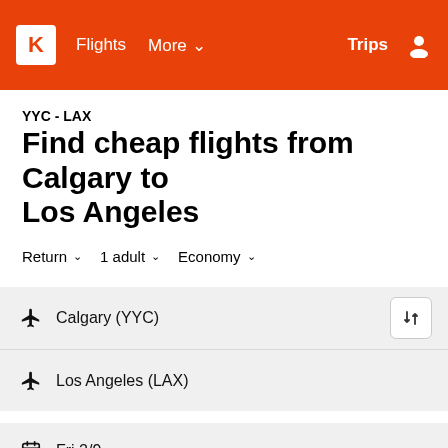K  Flights  More  Trips
YYC - LAX
Find cheap flights from Calgary to Los Angeles
Return  1 adult  Economy
Calgary (YYC)
Los Angeles (LAX)
Fri 2/9